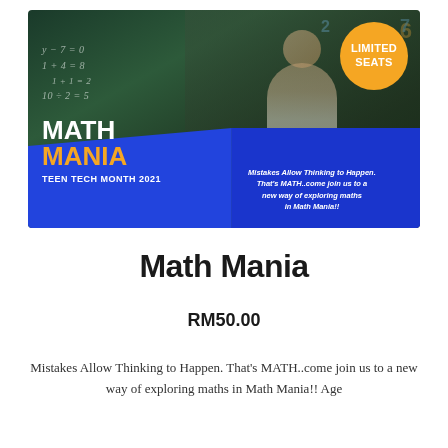[Figure (illustration): Math Mania promotional banner with chalkboard background, child thinking, mathematical equations, blue band with title, orange LIMITED SEATS badge]
Math Mania
RM50.00
Mistakes Allow Thinking to Happen. That's MATH..come join us to a new way of exploring maths in Math Mania!! Age